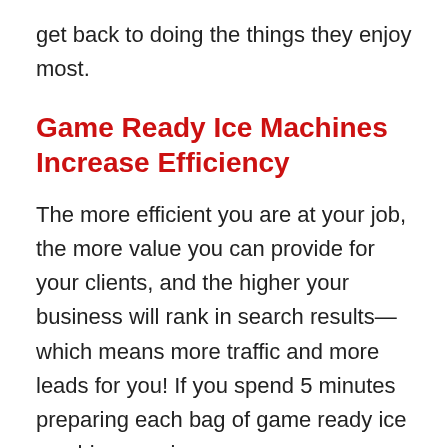get back to doing the things they enjoy most.
Game Ready Ice Machines Increase Efficiency
The more efficient you are at your job, the more value you can provide for your clients, and the higher your business will rank in search results—which means more traffic and more leads for you! If you spend 5 minutes preparing each bag of game ready ice machine sessions